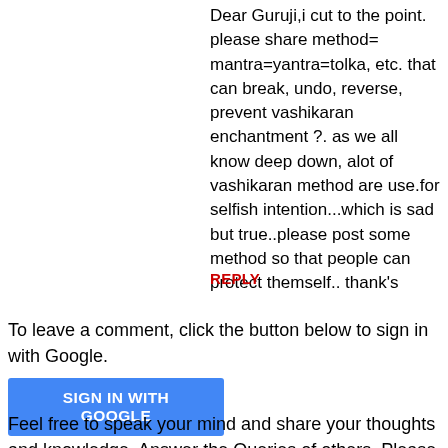Dear Guruji,i cut to the point. please share method= mantra=yantra=tolka, etc. that can break, undo, reverse, prevent vashikaran enchantment ?. as we all know deep down, alot of vashikaran method are use.for selfish intention...which is sad but true..please post some method so that people can protect themself.. thank's
REPLY
To leave a comment, click the button below to sign in with Google.
SIGN IN WITH GOOGLE
Feel free to speak your mind and share your thoughts and knowledge. Answer the Queries of others. Please do not expect answers for